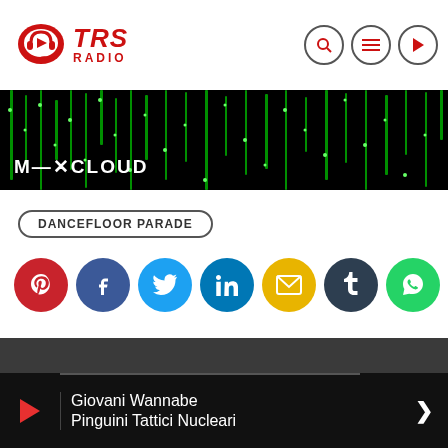[Figure (logo): TRS Radio logo with headphone icon and red TRS RADIO text]
[Figure (screenshot): Mixcloud banner with green matrix-style rain effect background and white text M-XCLOUD]
DANCEFLOOR PARADE
[Figure (infographic): Row of 7 social sharing buttons: Pinterest (red), Facebook (blue), Twitter (light blue), LinkedIn (dark blue), Email (yellow), Tumblr (dark), WhatsApp (green)]
RATE IT
Giovani Wannabe
Pinguini Tattici Nucleari